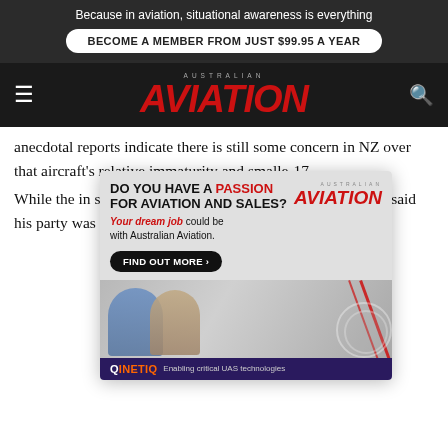Because in aviation, situational awareness is everything
BECOME A MEMBER FROM JUST $99.95 A YEAR
AVIATION
anecdotal reports indicate there is still some concern in NZ over that aircraft's relative immaturity and smaller ... C-17.
[Figure (advertisement): Australian Aviation advertisement popup: 'DO YOU HAVE A PASSION FOR AVIATION AND SALES? Your dream job could be with Australian Aviation. FIND OUT MORE' with photo of two people and QinetiQ Enabling critical UAS technologies banner at bottom.]
While ... nt of the in... sal has se... oppos... ed by the m... er 15 statem... n Ron Mark, said his party was "stunned" at what he